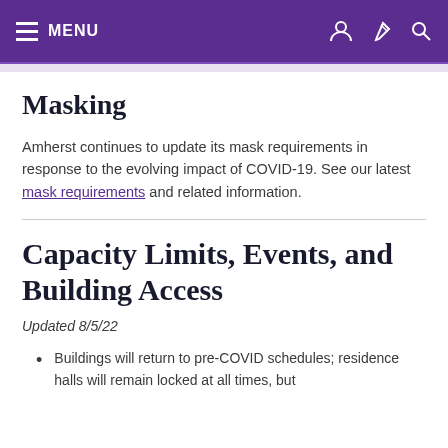MENU
Masking
Amherst continues to update its mask requirements in response to the evolving impact of COVID-19. See our latest mask requirements and related information.
Capacity Limits, Events, and Building Access
Updated 8/5/22
Buildings will return to pre-COVID schedules; residence halls will remain locked at all times, but